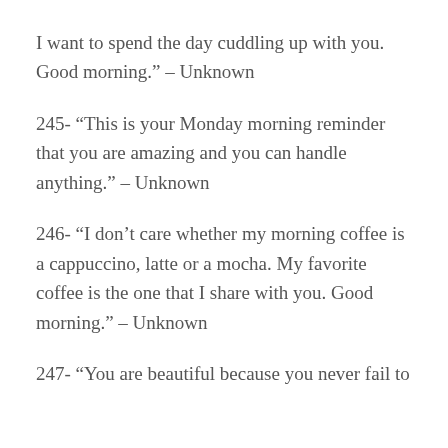I want to spend the day cuddling up with you. Good morning." – Unknown
245- “This is your Monday morning reminder that you are amazing and you can handle anything.” – Unknown
246- “I don’t care whether my morning coffee is a cappuccino, latte or a mocha. My favorite coffee is the one that I share with you. Good morning.” – Unknown
247- “You are beautiful because you never fail to